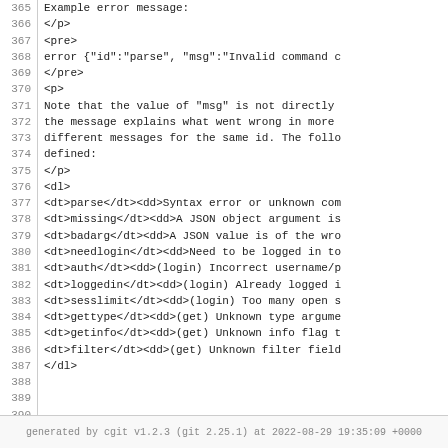365  Example error message:
366  </p>
367  <pre>
368   error {"id":"parse", "msg":"Invalid command c
369  </pre>
370  <p>
371   Note that the value of "msg" is not directly
372   the message explains what went wrong in more
373   different messages for the same id. The follo
374   defined:
375  </p>
376  <dl>
377   <dt>parse</dt><dd>Syntax error or unknown com
378   <dt>missing</dt><dd>A JSON object argument is
379   <dt>badarg</dt><dd>A JSON value is of the wro
380   <dt>needlogin</dt><dd>Need to be logged in to
381   <dt>auth</dt><dd>(login) Incorrect username/p
382   <dt>loggedin</dt><dd>(login) Already logged i
383   <dt>sesslimit</dt><dd>(login) Too many open s
384   <dt>gettype</dt><dd>(get) Unknown type argume
385   <dt>getinfo</dt><dd>(get) Unknown info flag t
386   <dt>filter</dt><dd>(get) Unknown filter field
387  </dl>
388  
389  
390
generated by cgit v1.2.3 (git 2.25.1) at 2022-08-29 19:35:09 +0000